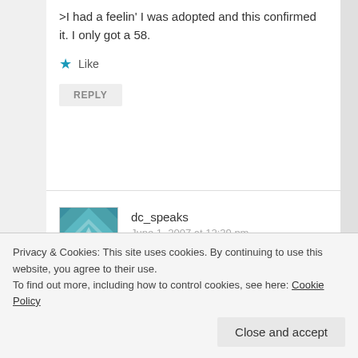>I had a feelin' I was adopted and this confirmed it. I only got a 58.
★ Like
REPLY
dc_speaks
June 1, 2007 at 12:39 pm
>hahahaha…ya'll are too funny. Good morning ya'll.@Lance: you a fool…flat out.@Plez: 90? you got a 90…ok, brah…we will work witcha?@Brkln diva: yavvvvvvv..congrats!!@Organ
Privacy & Cookies: This site uses cookies. By continuing to use this website, you agree to their use.
To find out more, including how to control cookies, see here: Cookie Policy
Close and accept